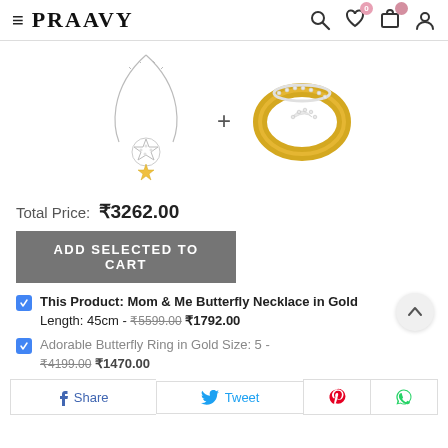PRAAVY
[Figure (photo): Two jewelry items: a silver necklace with star/butterfly pendant and a gold ring with diamond accents, separated by a plus sign]
Total Price: ₹3262.00
ADD SELECTED TO CART
This Product: Mom & Me Butterfly Necklace in Gold Length: 45cm - ₹5599.00 ₹1792.00
Adorable Butterfly Ring in Gold Size: 5 - ₹4199.00 ₹1470.00
Share  Tweet